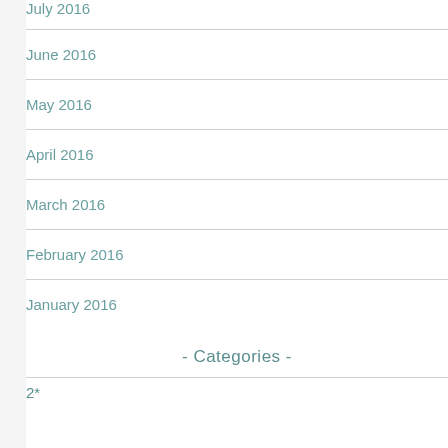July 2016
June 2016
May 2016
April 2016
March 2016
February 2016
January 2016
- Categories -
2*